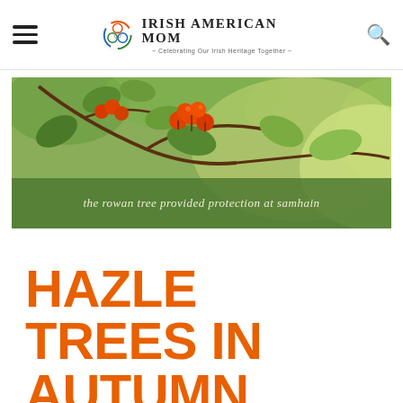Irish American Mom - Celebrating Our Irish Heritage Together
[Figure (photo): Close-up photo of red/orange rowan berries on branches with green leaves, with a green semi-transparent overlay bar at the bottom containing italic text: 'the rowan tree provided protection at samhain']
the rowan tree provided protection at samhain
HAZLE TREES IN AUTUMN